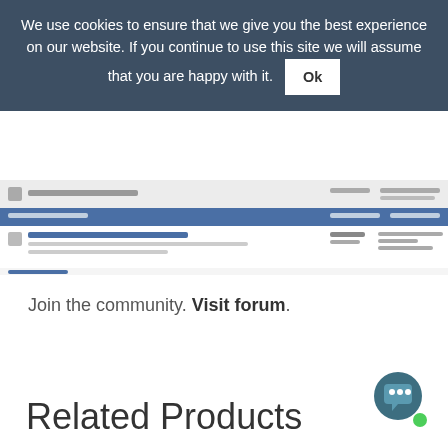We use cookies to ensure that we give you the best experience on our website. If you continue to use this site we will assume that you are happy with it. Ok
[Figure (screenshot): A partial screenshot of a forum page showing topic rows with columns for topics, replies, and last post dates.]
Join the community. Visit forum.
Related Products